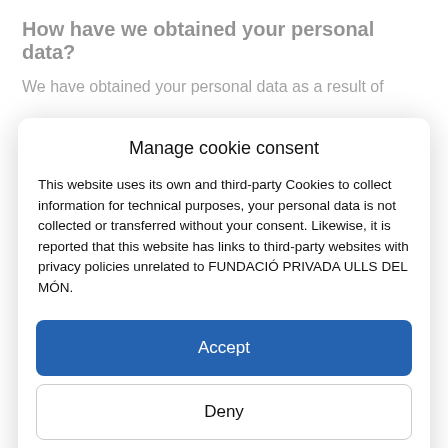How have we obtained your personal data?
We have obtained your personal data as a result of
Manage cookie consent
This website uses its own and third-party Cookies to collect information for technical purposes, your personal data is not collected or transferred without your consent. Likewise, it is reported that this website has links to third-party websites with privacy policies unrelated to FUNDACIÓ PRIVADA ULLS DEL MÓN.
Accept
Deny
See preferences
Cookie Policy   Data protection policy